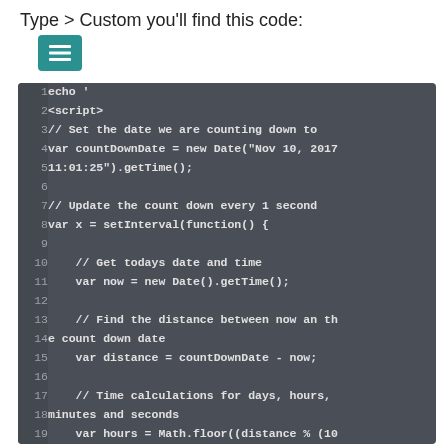Type > Custom you'll find this code:
[Figure (screenshot): Code editor screenshot showing JavaScript countdown timer code with line numbers 1-19 on dark background]
Code block with line numbers 1-19 showing JavaScript code